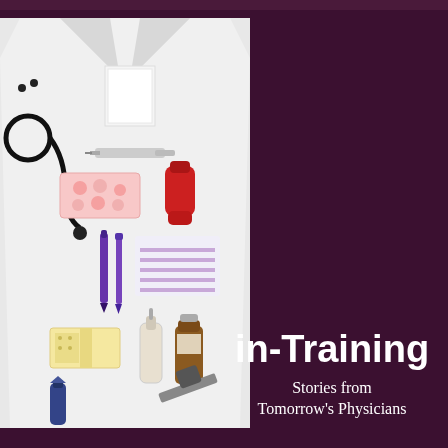[Figure (photo): Book cover for 'in-Training: Stories from Tomorrow's Physicians'. Dark purple/maroon background on right side. Left side shows a white lab coat laid flat with various medical items placed on it: stethoscope, bandage/gauze, syringe, pills in packet, red inhaler, purple markers/pens, striped notepad, nasal spray bottle, brown medicine bottle, bandage strips, reflex hammer, and other medical tools. The items are arranged neatly on the coat.]
in-Training
Stories from Tomorrow's Physicians